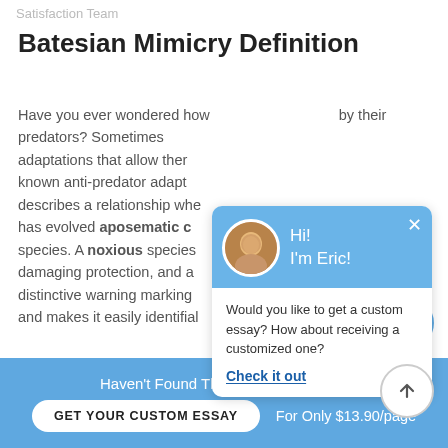Satisfaction Team
Batesian Mimicry Definition
Have you ever wondered how … by their predators? Sometimes adaptations that allow them … known anti-predator adapta… describes a relationship whe… has evolved aposematic c… species. A noxious species … damaging protection, and a… distinctive warning marking … and makes it easily identifial…
[Figure (screenshot): Chat popup overlay with avatar photo of a person named Eric, blue background header saying 'Hi! I'm Eric!', close X button, and white body with text 'Would you like to get a custom essay? How about receiving a customized one?' followed by 'Check it out' link]
By imitating a harmful species, the mimic can avoid predation. It's useful to know about Batesian mimicry fo…
Haven't Found The Essay You Want? GET YOUR CUSTOM ESSAY For Only $13.90/page